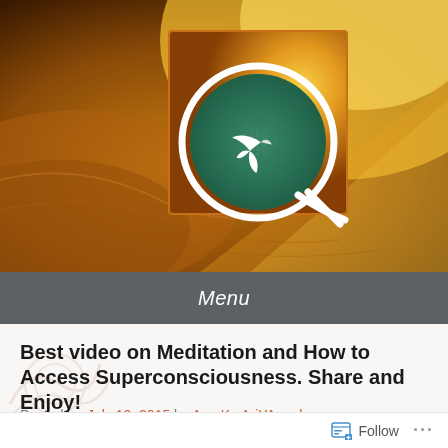[Figure (illustration): A golden-orange cosmic/planetary landscape background with a bright light source (sun/planet). Centered is a square logo with a green circle containing a hummingbird silhouette and geometric flower-of-life pattern, with a stylized Q shape in white around it.]
Menu
Best video on Meditation and How to Access Superconsciousness. Share and Enjoy!
Posted on July 10, 2015 by Aga Ka AriYAnnah